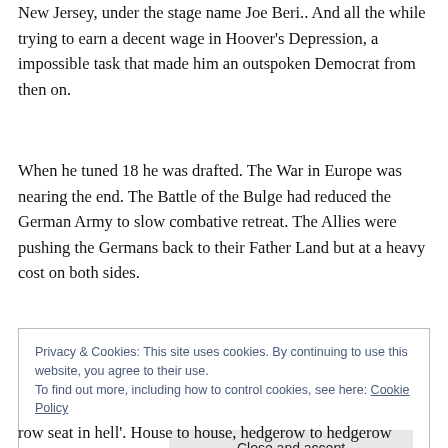New Jersey, under the stage name Joe Beri.. And all the while trying to earn a decent wage in Hoover's Depression, a impossible task that made him an outspoken Democrat from then on.
When he tuned 18 he was drafted. The War in Europe was nearing the end. The Battle of the Bulge had reduced the German Army to slow combative retreat. The Allies were pushing the Germans back to their Father Land but at a heavy cost on both sides.
Privacy & Cookies: This site uses cookies. By continuing to use this website, you agree to their use.
To find out more, including how to control cookies, see here: Cookie Policy
Close and accept
row seat in hell'. House to house, hedgerow to hedgerow